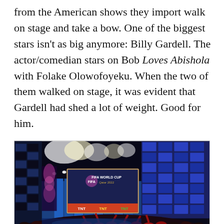from the American shows they import walk on stage and take a bow. One of the biggest stars isn't as big anymore: Billy Gardell. The actor/comedian stars on Bob Loves Abishola with Folake Olowofoyeku. When the two of them walked on stage, it was evident that Gardell had shed a lot of weight. Good for him.
[Figure (photo): A large concert or event hall with a stage showing a FIFA World Cup Qatar 2022 branded screen with TNT/TBT/TNT logos beneath it. The stage has dramatic blue and white lighting with spotlights, flanked by large LED walls. A big crowd in red clothing is visible in the foreground with arms raised.]